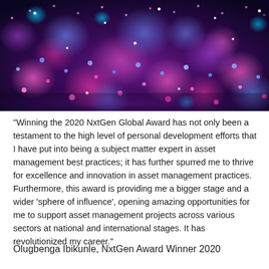[Figure (photo): A close-up photograph of colorful bokeh glitter lights in shades of pink, magenta, blue and purple on a dark background]
"Winning the 2020 NxtGen Global Award has not only been a testament to the high level of personal development efforts that I have put into being a subject matter expert in asset management best practices; it has further spurred me to thrive for excellence and innovation in asset management practices. Furthermore, this award is providing me a bigger stage and a wider 'sphere of influence', opening amazing opportunities for me to support asset management projects across various sectors at national and international stages. It has revolutionized my career."
Olugbenga Ibikunle, NxtGen Award Winner 2020